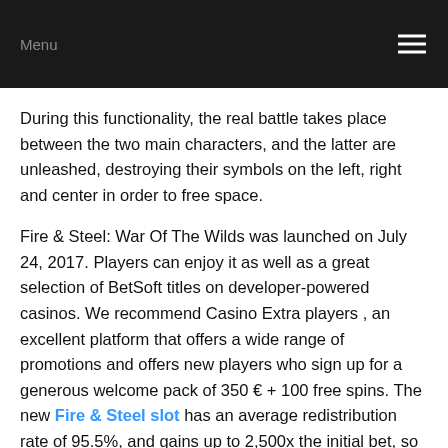Menu
During this functionality, the real battle takes place between the two main characters, and the latter are unleashed, destroying their symbols on the left, right and center in order to free space.
Fire & Steel: War Of The Wilds was launched on July 24, 2017. Players can enjoy it as well as a great selection of BetSoft titles on developer-powered casinos. We recommend Casino Extra players , an excellent platform that offers a wide range of promotions and offers new players who sign up for a generous welcome pack of 350 € + 100 free spins. The new Fire & Steel slot has an average redistribution rate of 95.5%, and gains up to 2,500x the initial bet, so you'll have to start the adventure right now.